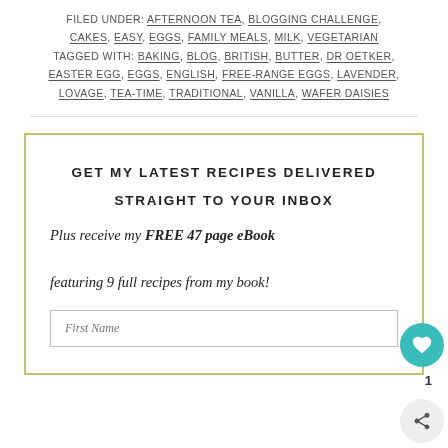FILED UNDER: AFTERNOON TEA, BLOGGING CHALLENGE, CAKES, EASY, EGGS, FAMILY MEALS, MILK, VEGETARIAN
TAGGED WITH: BAKING, BLOG, BRITISH, BUTTER, DR OETKER, EASTER EGG, EGGS, ENGLISH, FREE-RANGE EGGS, LAVENDER, LOVAGE, TEA-TIME, TRADITIONAL, VANILLA, WAFER DAISIES
GET MY LATEST RECIPES DELIVERED
STRAIGHT TO YOUR INBOX
Plus receive my FREE 47 page eBook featuring 9 full recipes from my book!
First Name